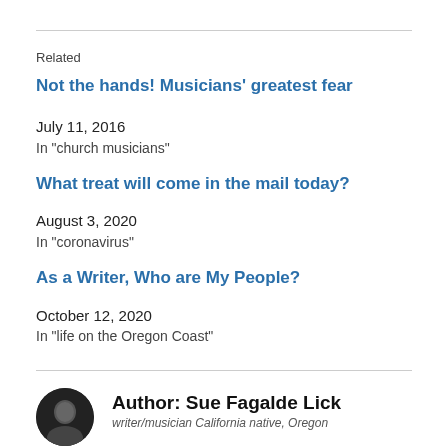Related
Not the hands! Musicians' greatest fear
July 11, 2016
In "church musicians"
What treat will come in the mail today?
August 3, 2020
In "coronavirus"
As a Writer, Who are My People?
October 12, 2020
In "life on the Oregon Coast"
Author: Sue Fagalde Lick
writer/musician California native, Oregon